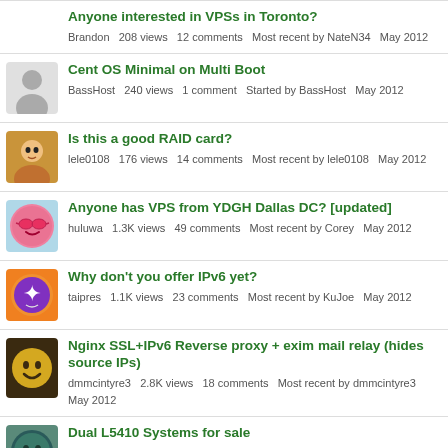Anyone interested in VPSs in Toronto?
Brandon  208 views  12 comments  Most recent by NateN34  May 2012
Cent OS Minimal on Multi Boot
BassHost  240 views  1 comment  Started by BassHost  May 2012
Is this a good RAID card?
lele0108  176 views  14 comments  Most recent by lele0108  May 2012
Anyone has VPS from YDGH Dallas DC? [updated]
huluwa  1.3K views  49 comments  Most recent by Corey  May 2012
Why don't you offer IPv6 yet?
taipres  1.1K views  23 comments  Most recent by KuJoe  May 2012
Nginx SSL+IPv6 Reverse proxy + exim mail relay (hides source IPs)
dmmcintyre3  2.8K views  18 comments  Most recent by dmmcintyre3  May 2012
Dual L5410 Systems for sale
mikehighend  544 views  14 comments  Most recent by mikehighend  May 2012